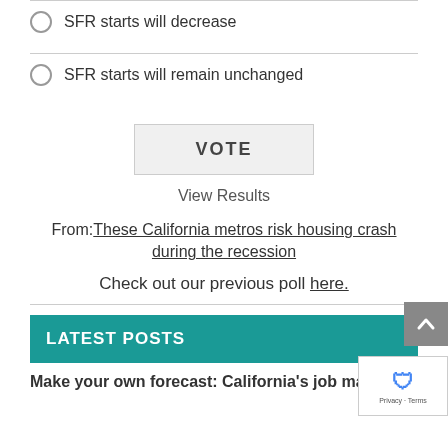SFR starts will decrease
SFR starts will remain unchanged
VOTE
View Results
From: These California metros risk housing crash during the recession
Check out our previous poll here.
LATEST POSTS
Make your own forecast: California's job market…